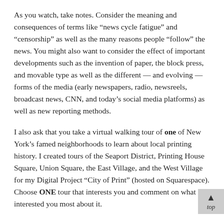As you watch, take notes. Consider the meaning and consequences of terms like “news cycle fatigue” and “censorship” as well as the many reasons people “follow” the news. You might also want to consider the effect of important developments such as the invention of paper, the block press, and movable type as well as the different — and evolving — forms of the media (early newspapers, radio, newsreels, broadcast news, CNN, and today’s social media platforms) as well as new reporting methods.
I also ask that you take a virtual walking tour of one of New York’s famed neighborhoods to learn about local printing history. I created tours of the Seaport District, Printing House Square, Union Square, the East Village, and the West Village for my Digital Project “City of Print” (hosted on Squarespace). Choose ONE tour that interests you and comment on what interested you most about it.